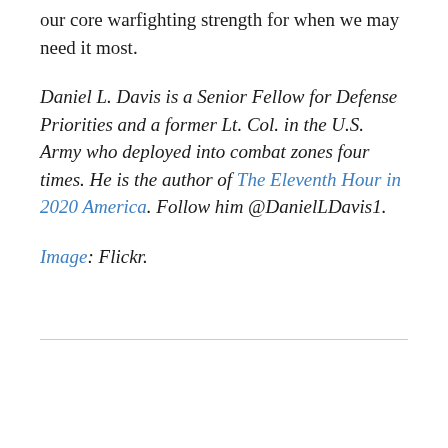our core warfighting strength for when we may need it most.
Daniel L. Davis is a Senior Fellow for Defense Priorities and a former Lt. Col. in the U.S. Army who deployed into combat zones four times. He is the author of The Eleventh Hour in 2020 America. Follow him @DanielLDavis1.
Image: Flickr.